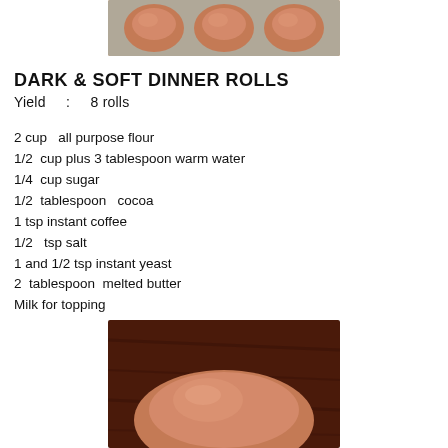[Figure (photo): Four round dark bread rolls on a baking tray, viewed from above]
DARK & SOFT DINNER ROLLS
Yield   :   8 rolls
2 cup   all purpose flour
1/2  cup plus 3 tablespoon warm water
1/4  cup sugar
1/2  tablespoon   cocoa
1 tsp instant coffee
1/2   tsp salt
1 and 1/2 tsp instant yeast
2  tablespoon  melted butter
Milk for topping
[Figure (photo): A close-up of a dark dinner roll on a wooden surface]